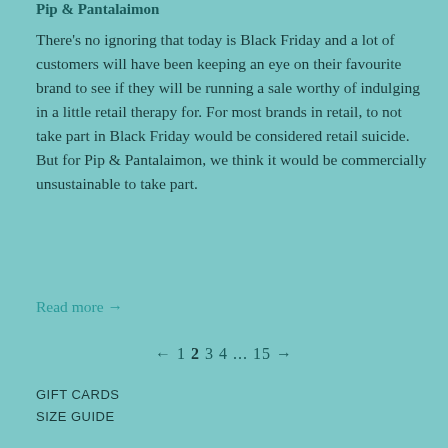Pip & Pantalaimon
There's no ignoring that today is Black Friday and a lot of customers will have been keeping an eye on their favourite brand to see if they will be running a sale worthy of indulging in a little retail therapy for. For most brands in retail, to not take part in Black Friday would be considered retail suicide. But for Pip & Pantalaimon, we think it would be commercially unsustainable to take part.
Read more →
← 1 2 3 4 ... 15 →
GIFT CARDS
SIZE GUIDE